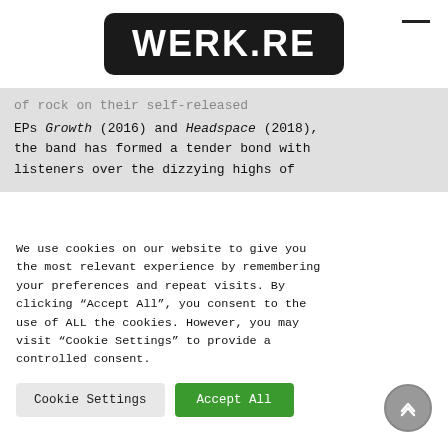WERK.RE
of rock on their self-released EPs Growth (2016) and Headspace (2018), the band has formed a tender bond with listeners over the dizzying highs of
We use cookies on our website to give you the most relevant experience by remembering your preferences and repeat visits. By clicking “Accept All”, you consent to the use of ALL the cookies. However, you may visit “Cookie Settings” to provide a controlled consent.